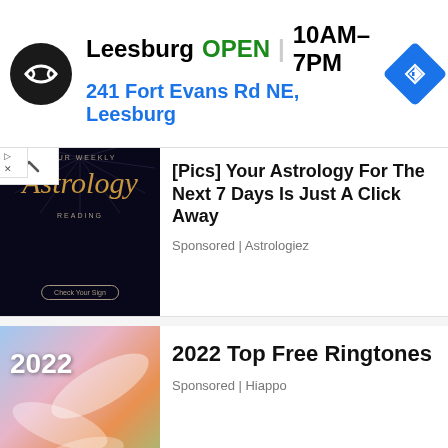[Figure (screenshot): Google Maps store listing banner: Leesburg store, OPEN, hours 10AM-7PM, address 241 Fort Evans Rd NE Leesburg, navigation icon]
[Pics] Your Astrology For The Next 7 Days Is Just A Click Away
Sponsored | Astrologiez
[Figure (photo): Astrology weekly reading thumbnail - dark background with gold Astrology text and rays]
2022 Top Free Ringtones
Sponsored | Hiappo
[Figure (photo): 2022 Ringtones colorful abstract thumbnail]
[Figure (photo): Elderly man with white hair and glasses, blurred background, photo cropped at bottom of page]